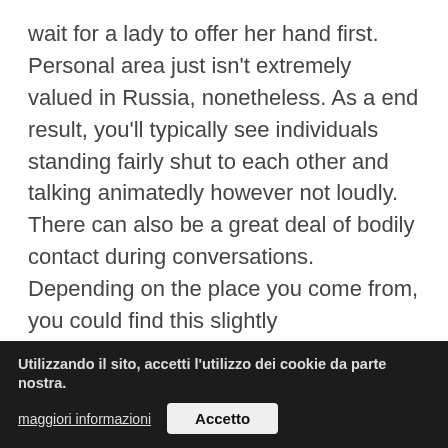wait for a lady to offer her hand first. Personal area just isn't extremely valued in Russia, nonetheless. As a end result, you'll typically see individuals standing fairly shut to each other and talking animatedly however not loudly. There can also be a great deal of bodily contact during conversations. Depending on the place you come from, you could find this slightly uncomfortable in the early stages of a relationship. If you select not to say something, nevertheless, simply attempt to remember that this isn't necessarily an indication that a person is interested in you, it's just their tradition.

In truth, the stereotype of the feminine being a great housekeeper is one of the primary the reason why maids aren't... this respect, Ru...pe...ghbors in terms of gender equality. This may be hard to swallow as
Utilizzando il sito, accetti l'utilizzo dei cookie da parte nostra. maggiori informazioni | Accetto